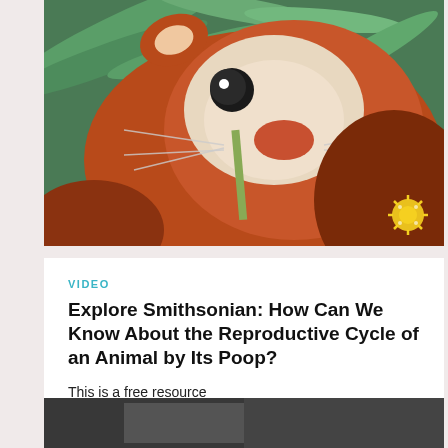[Figure (photo): Close-up photograph of a red panda eating bamboo leaves, with an orange and white fluffy face and a small decorative sun icon in the lower right corner of the image.]
VIDEO
Explore Smithsonian: How Can We Know About the Reproductive Cycle of an Animal by Its Poop?
This is a free resource
Filed Under: Grade 3, Grade 4, Grade 5, Grade 6, Grade 7, Grade 8, Life Science
[Figure (photo): Partial view of a second image at the bottom of the page, appearing dark and blurred.]